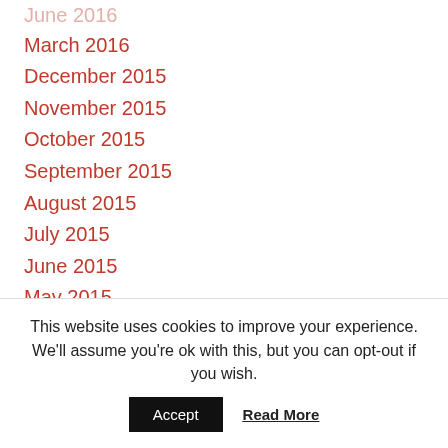March 2016
December 2015
November 2015
October 2015
September 2015
August 2015
July 2015
June 2015
May 2015
April 2015
March 2015
February 2015
January 2015
December 2014
November 2014
This website uses cookies to improve your experience. We'll assume you're ok with this, but you can opt-out if you wish.
Accept  Read More